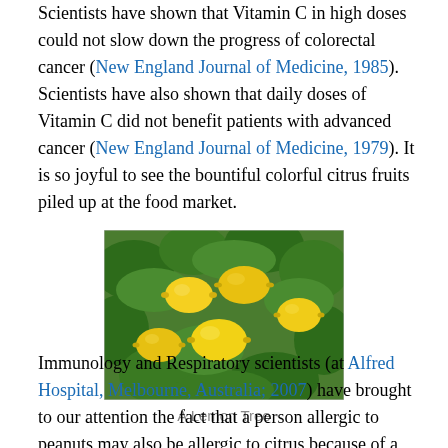Scientists have shown that Vitamin C in high doses could not slow down the progress of colorectal cancer (New England Journal of Medicine, 1985). Scientists have also shown that daily doses of Vitamin C did not benefit patients with advanced cancer (New England Journal of Medicine, 1979). It is so joyful to see the bountiful colorful citrus fruits piled up at the food market.
[Figure (photo): Photo of a lemon tree with yellow lemons and green leaves]
A Lemon Tree
Immunology and Respiratory scientists (at Alfred Hospital, Melbourne, Australia; 2007) have brought to our attention the fact that a person allergic to peanuts may also be allergic to citrus because of a slightly similar protein.